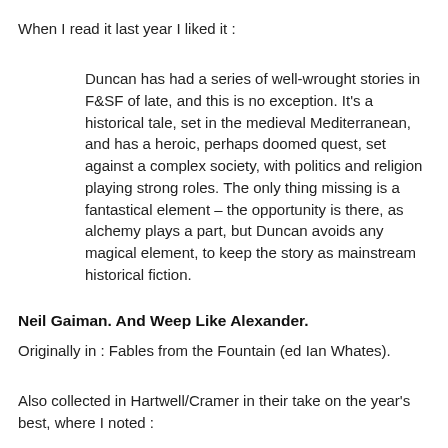When I read it last year I liked it :
Duncan has had a series of well-wrought stories in F&SF of late, and this is no exception. It's a historical tale, set in the medieval Mediterranean, and has a heroic, perhaps doomed quest, set against a complex society, with politics and religion playing strong roles. The only thing missing is a fantastical element – the opportunity is there, as alchemy plays a part, but Duncan avoids any magical element, to keep the story as mainstream historical fiction.
Neil Gaiman. And Weep Like Alexander.
Originally in : Fables from the Fountain (ed Ian Whates).
Also collected in Hartwell/Cramer in their take on the year's best, where I noted :